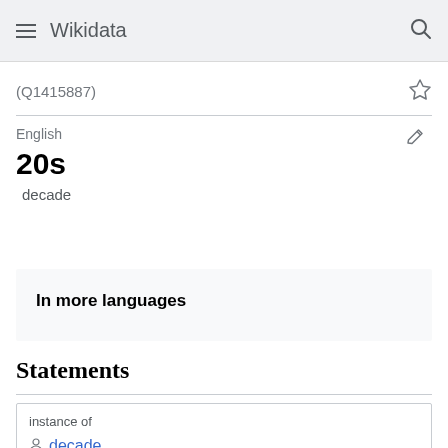Wikidata
(Q1415887)
English
20s
decade
In more languages
Statements
instance of
decade